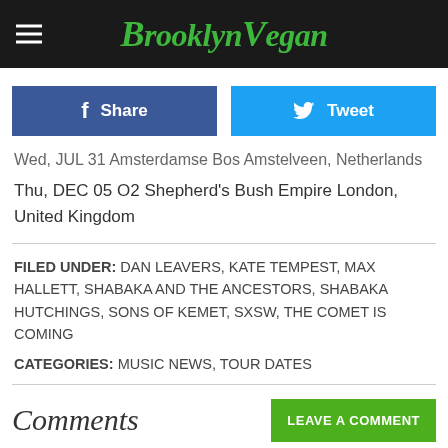BrooklynVegan
Wed, JUL 31 Amsterdamse Bos Amstelveen, Netherlands
Thu, DEC 05 O2 Shepherd's Bush Empire London, United Kingdom
FILED UNDER: DAN LEAVERS, KATE TEMPEST, MAX HALLETT, SHABAKA AND THE ANCESTORS, SHABAKA HUTCHINGS, SONS OF KEMET, SXSW, THE COMET IS COMING
CATEGORIES: MUSIC NEWS, TOUR DATES
Comments
LEAVE A COMMENT
Check It Out